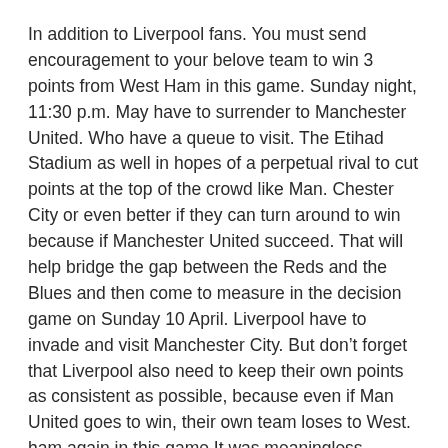In addition to Liverpool fans. You must send encouragement to your belove team to win 3 points from West Ham in this game. Sunday night, 11:30 p.m. May have to surrender to Manchester United. Who have a queue to visit. The Etihad Stadium as well in hopes of a perpetual rival to cut points at the top of the crowd like Man. Chester City or even better if they can turn around to win because if Manchester United succeed. That will help bridge the gap between the Reds and the Blues and then come to measure in the decision game on Sunday 10 April. Liverpool have to invade and visit Manchester City. But don't forget that Liverpool also need to keep their own points as consistent as possible, because even if Man United goes to win, their own team loses to West. ham again in this game It was meaningless.
Tagged with: Arsenal, Bowen, Jurgen Klopp, Liverpool, Manchester United, Premier League, Tottenham Hotspur, West Ham, Wolves